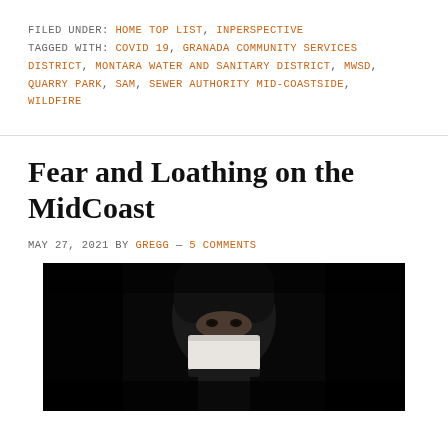FILED UNDER: HOME TOP LIST, INPERSPECTIVE
TAGGED WITH: COVID 19, GRANADA COMMUNITY SERVICES DISTRICT, MONTARA WATER AND SANITARY DISTRICT, MWSD, QUARRY PARK, SAM, SEWER AUTHORITY MID-COASTSIDE, WILDFIRE
Fear and Loathing on the MidCoast
MAY 27, 2021 BY GREGG — 5 COMMENTS
[Figure (photo): Dark photograph of a person wearing a dark hooded garment and a white face mask, with only their eyes visible, set against a black background.]